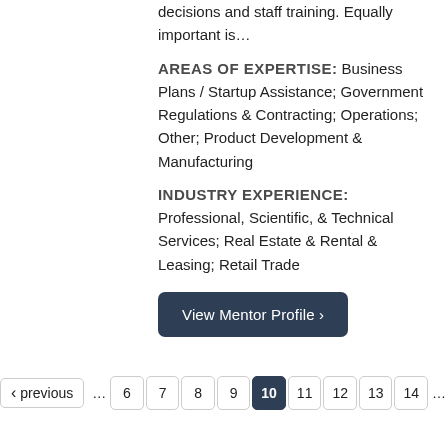decisions and staff training. Equally important is…
AREAS OF EXPERTISE: Business Plans / Startup Assistance; Government Regulations & Contracting; Operations; Other; Product Development & Manufacturing
INDUSTRY EXPERIENCE: Professional, Scientific, & Technical Services; Real Estate & Rental & Leasing; Retail Trade
View Mentor Profile >
‹ previous … 6 7 8 9 10 11 12 13 14 …